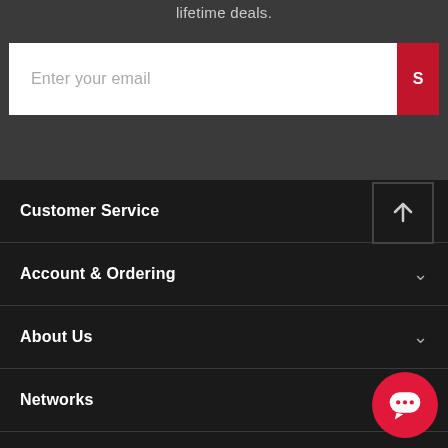lifetime deals.
Enter your email
Customer Service
Account & Ordering
About Us
Networks